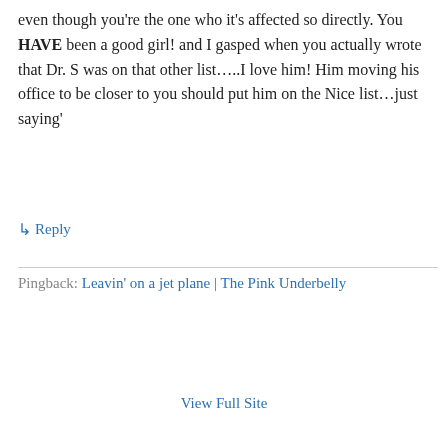even though you're the one who it's affected so directly. You HAVE been a good girl! and I gasped when you actually wrote that Dr. S was on that other list…..I love him! Him moving his office to be closer to you should put him on the Nice list…just saying'
↳ Reply
Pingback: Leavin' on a jet plane | The Pink Underbelly
View Full Site